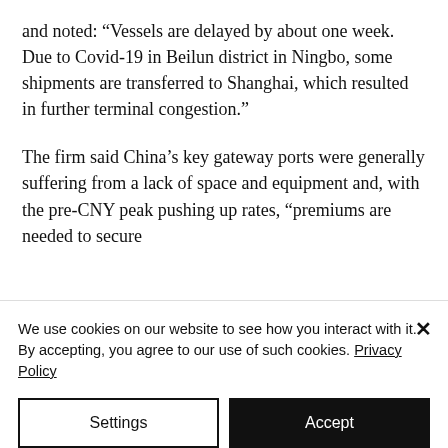and noted: “Vessels are delayed by about one week. Due to Covid-19 in Beilun district in Ningbo, some shipments are transferred to Shanghai, which resulted in further terminal congestion.”
The firm said China’s key gateway ports were generally suffering from a lack of space and equipment and, with the pre-CNY peak pushing up rates, “premiums are needed to secure
We use cookies on our website to see how you interact with it. By accepting, you agree to our use of such cookies. Privacy Policy
Settings
Accept